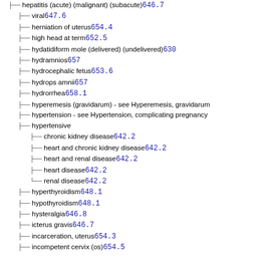hepatitis (acute) (malignant) (subacute) 646.7
viral 647.6
herniation of uterus 654.4
high head at term 652.5
hydatidiform mole (delivered) (undelivered) 630
hydramnios 657
hydrocephalic fetus 653.6
hydrops amnii 657
hydrorrhea 658.1
hyperemesis (gravidarum) - see Hyperemesis, gravidarum
hypertension - see Hypertension, complicating pregnancy
hypertensive
chronic kidney disease 642.2
heart and chronic kidney disease 642.2
heart and renal disease 642.2
heart disease 642.2
renal disease 642.2
hyperthyroidism 648.1
hypothyroidism 648.1
hysteralgia 646.8
icterus gravis 646.7
incarceration, uterus 654.3
incompetent cervix (os) 654.5